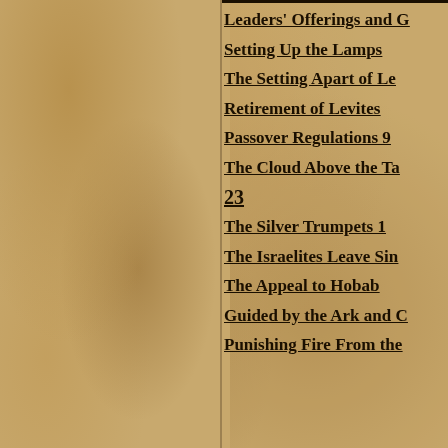Leaders' Offerings and G
Setting Up the Lamps
The Setting Apart of Le
Retirement of Levites
Passover Regulations  9
The Cloud Above the Ta
23
The Silver Trumpets  1
The Israelites Leave Sin
The Appeal to Hobab
Guided by the Ark and C
Punishing Fire From the